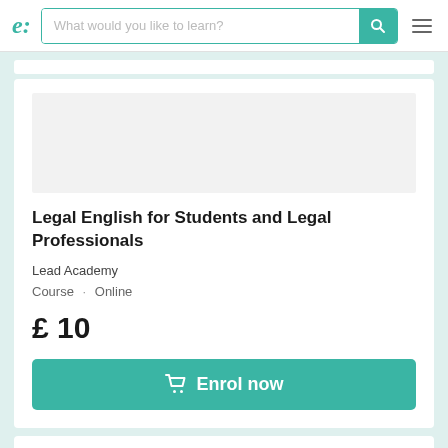e: — What would you like to learn? [search bar with magnifier] [hamburger menu]
[Figure (screenshot): White image placeholder area inside course card]
Legal English for Students and Legal Professionals
Lead Academy
Course · Online
£ 10
Enrol now